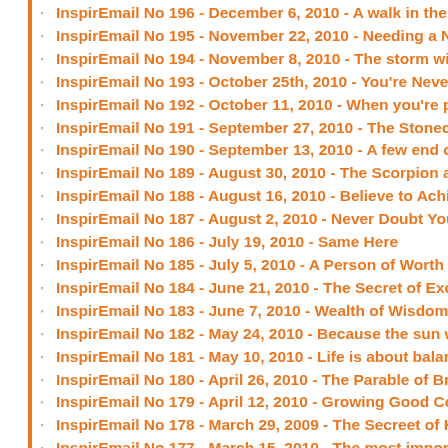InspirEmail No 196 - December 6, 2010 - A walk in the p...
InspirEmail No 195 - November 22, 2010 - Needing a Nu...
InspirEmail No 194 - November 8, 2010 - The storm will...
InspirEmail No 193 - October 25th, 2010 - You're Never...
InspirEmail No 192 - October 11, 2010 - When you're pu...
InspirEmail No 191 - September 27, 2010 - The Stonecu...
InspirEmail No 190 - September 13, 2010 - A few end of...
InspirEmail No 189 - August 30, 2010 - The Scorpion an...
InspirEmail No 188 - August 16, 2010 - Believe to Achie...
InspirEmail No 187 - August 2, 2010 - Never Doubt Your...
InspirEmail No 186 - July 19, 2010 - Same Here
InspirEmail No 185 - July 5, 2010 - A Person of Worth
InspirEmail No 184 - June 21, 2010 - The Secret of Exce...
InspirEmail No 183 - June 7, 2010 - Wealth of Wisdom
InspirEmail No 182 - May 24, 2010 - Because the sun wa...
InspirEmail No 181 - May 10, 2010 - Life is about balanc...
InspirEmail No 180 - April 26, 2010 - The Parable of Bro...
InspirEmail No 179 - April 12, 2010 - Growing Good Cor...
InspirEmail No 178 - March 29, 2009 - The Secreet of Ha...
InspirEmail No 177 - March 15, 2010 - The most importa...
InspirEmail No 176 - March 1, 2010 - If you chnage one...
InspirEmail No 175 - February 15, 2010 - Secret of Succ...
InspirEmail No 174 - February 1, 2010 - Love without Me...
InspirEmail No 173 - January 18, 2010 - ...